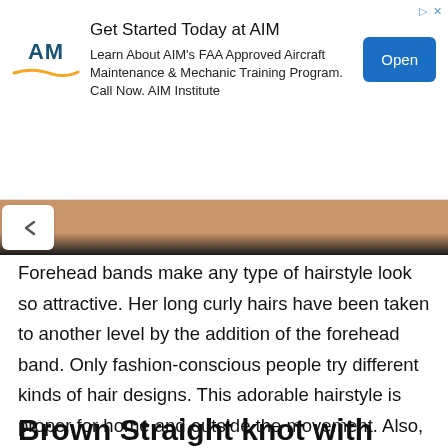[Figure (other): AIM Institute advertisement banner with logo, text about FAA Approved Aircraft Maintenance & Mechanic Training Program, and Open button]
[Figure (photo): Partial photo of a person with a hairstyle, showing skin tone and dark hair at top of frame]
Forehead bands make any type of hairstyle look so attractive. Her long curly hairs have been taken to another level by the addition of the forehead band. Only fashion-conscious people try different kinds of hair designs. This adorable hairstyle is proper for home and outside the movement. Also, you will not be bothered by any maintenance problems. Neither do you require so many hairstyles to complete this hairstyle?
Brown Straight knot with